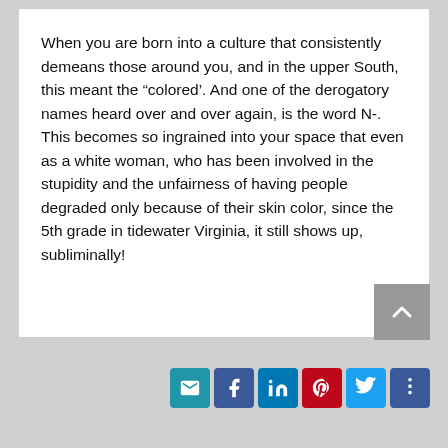When you are born into a culture that consistently demeans those around you, and in the upper South, this meant the “colored’. And one of the derogatory names heard over and over again, is the word N-. This becomes so ingrained into your space that even as a white woman, who has been involved in the stupidity and the unfairness of having people degraded only because of their skin color, since the 5th grade in tidewater Virginia, it still shows up, subliminally!